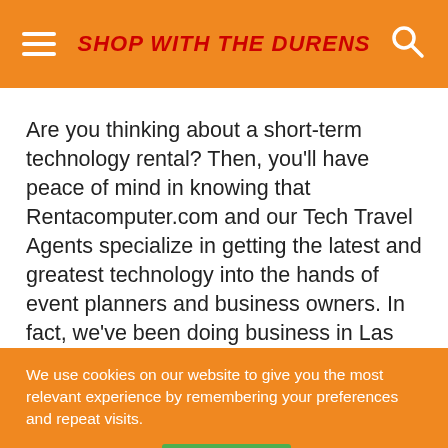SHOP WITH THE DURENS
Are you thinking about a short-term technology rental? Then, you'll have peace of mind in knowing that Rentacomputer.com and our Tech Travel Agents specialize in getting the latest and greatest technology into the hands of event planners and business owners. In fact, we've been doing business in Las Vegas for over 30 years!
We use cookies on our website to give you the most relevant experience by remembering your preferences and repeat visits.
Cookie settings   ACCEPT